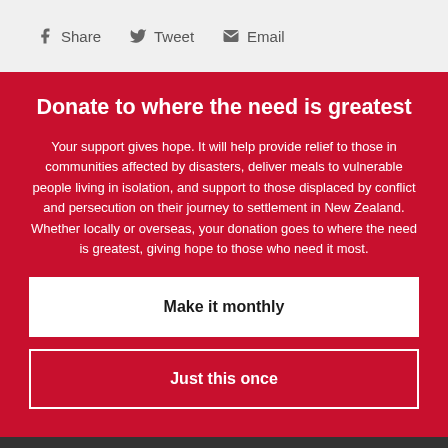Share  Tweet  Email
Donate to where the need is greatest
Your support gives hope. It will help provide relief to those in communities affected by disasters, deliver meals to vulnerable people living in isolation, and support to those displaced by conflict and persecution on their journey to settlement in New Zealand. Whether locally or overseas, your donation goes to where the need is greatest, giving hope to those who need it most.
Make it monthly
Just this once